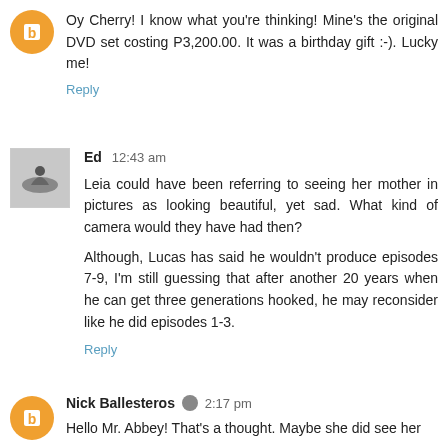Oy Cherry! I know what you're thinking! Mine's the original DVD set costing P3,200.00. It was a birthday gift :-). Lucky me!
Reply
Ed  12:43 am
Leia could have been referring to seeing her mother in pictures as looking beautiful, yet sad. What kind of camera would they have had then?
Although, Lucas has said he wouldn't produce episodes 7-9, I'm still guessing that after another 20 years when he can get three generations hooked, he may reconsider like he did episodes 1-3.
Reply
Nick Ballesteros  2:17 pm
Hello Mr. Abbey! That's a thought. Maybe she did see her